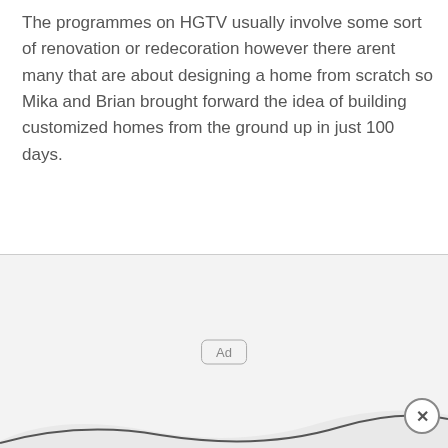The programmes on HGTV usually involve some sort of renovation or redecoration however there arent many that are about designing a home from scratch so Mika and Brian brought forward the idea of building customized homes from the ground up in just 100 days.
WATCH 100 DAY DREAM HOME ON HGTV EVERY MONDAY AT 8 PM
[Figure (other): Advertisement placeholder area with a small 'Ad' label badge in the center, a wave/curve SVG at the bottom, and a close (×) button in the bottom-right corner.]